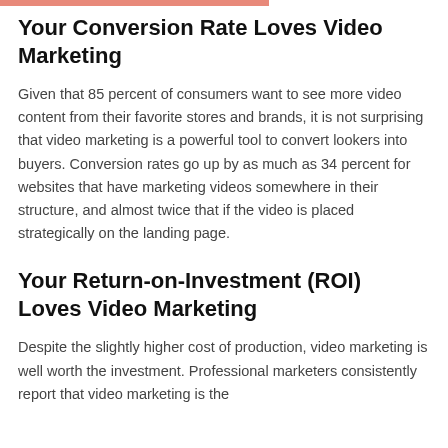Your Conversion Rate Loves Video Marketing
Given that 85 percent of consumers want to see more video content from their favorite stores and brands, it is not surprising that video marketing is a powerful tool to convert lookers into buyers. Conversion rates go up by as much as 34 percent for websites that have marketing videos somewhere in their structure, and almost twice that if the video is placed strategically on the landing page.
Your Return-on-Investment (ROI) Loves Video Marketing
Despite the slightly higher cost of production, video marketing is well worth the investment. Professional marketers consistently report that video marketing is the